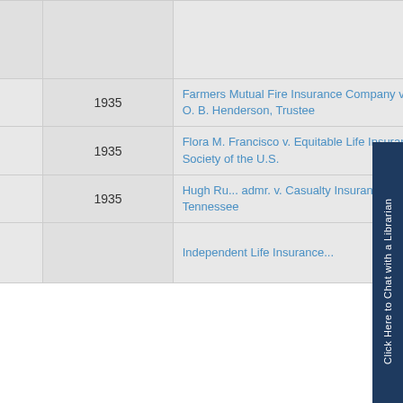| Action | Year | Case Name |
| --- | --- | --- |
|  |  |  |
| View Entry | 1935 | Farmers Mutual Fire Insurance Company v. O. B. Henderson, Trustee |
| View Entry | 1935 | Flora M. Francisco v. Equitable Life Insurance Society of the U.S. |
| View Entry | 1935 | Hugh Ru... admr. v. Casualty Insurance Co. of Tennessee |
|  |  | Independent Life Insurance... |